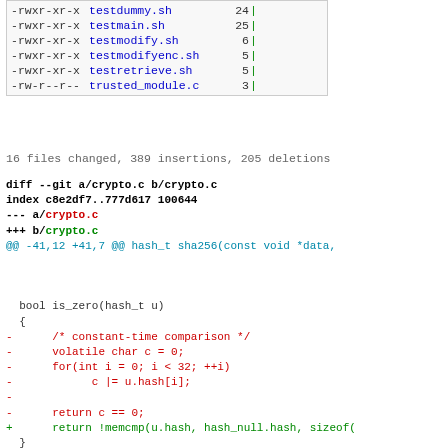| permissions | filename | size | bar |
| --- | --- | --- | --- |
| -rwxr-xr-x | testdummy.sh | 24 | | |
| -rwxr-xr-x | testmain.sh | 25 | | |
| -rwxr-xr-x | testmodify.sh | 6 | | |
| -rwxr-xr-x | testmodifyenc.sh | 5 | | |
| -rwxr-xr-x | testretrieve.sh | 5 | | |
| -rw-r--r-- | trusted_module.c | 3 | | |
16 files changed, 389 insertions, 205 deletions
diff --git a/crypto.c b/crypto.c
index c8e2df7..777d617 100644
--- a/crypto.c
+++ b/crypto.c
@@ -41,12 +41,7 @@ hash_t sha256(const void *data,

  bool is_zero(hash_t u)
  {
-      /* constant-time comparison */
-      volatile char c = 0;
-      for(int i = 0; i < 32; ++i)
-            c |= u.hash[i];
-
-      return c == 0;
+      return !memcmp(u.hash, hash_null.hash, sizeof(
  }

  void dump_hash(hash_t u)
@@ -484,6 +479,18 @@ void warn(const char *fmt, ...
      fprintf(stderr, "\033[31;1mWARNING\033[0m: %s\